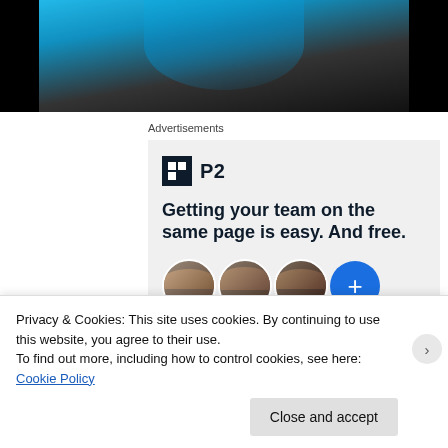[Figure (photo): Partial view of a person in a blue outfit against a dark background — cropped top portion]
Advertisements
[Figure (infographic): P2 advertisement with logo, headline 'Getting your team on the same page is easy. And free.' and circular avatar images of team members]
Privacy & Cookies: This site uses cookies. By continuing to use this website, you agree to their use.
To find out more, including how to control cookies, see here: Cookie Policy
Close and accept